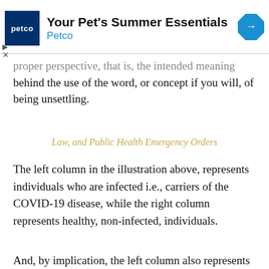[Figure (other): Petco advertisement banner: Your Pet's Summer Essentials]
proper perspective, that is, the intended meaning behind the use of the word, or concept if you will, of being unsettling.
Law, and Public Health Emergency Orders
The left column in the illustration above, represents individuals who are infected i.e., carriers of the COVID-19 disease, while the right column represents healthy, non-infected, individuals.
And, by implication, the left column also represents